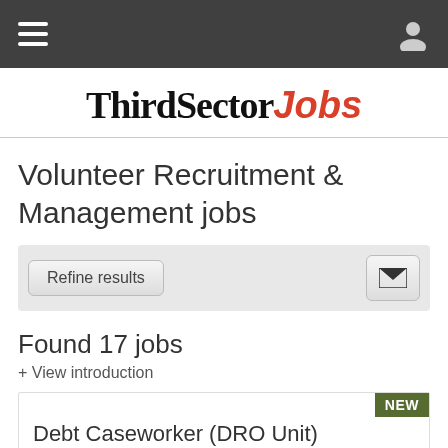ThirdSector Jobs — navigation bar
ThirdSector Jobs
Volunteer Recruitment & Management jobs
Refine results
Found 17 jobs
+ View introduction
NEW
Debt Caseworker (DRO Unit)